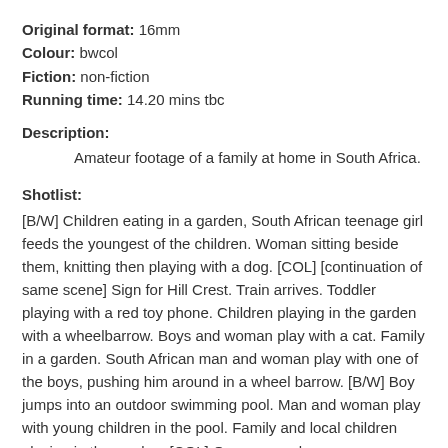Original format: 16mm
Colour: bwcol
Fiction: non-fiction
Running time: 14.20 mins tbc
Description:
Amateur footage of a family at home in South Africa.
Shotlist:
[B/W] Children eating in a garden, South African teenage girl feeds the youngest of the children. Woman sitting beside them, knitting then playing with a dog. [COL] [continuation of same scene] Sign for Hill Crest. Train arrives. Toddler playing with a red toy phone. Children playing in the garden with a wheelbarrow. Boys and woman play with a cat. Family in a garden. South African man and woman play with one of the boys, pushing him around in a wheel barrow. [B/W] Boy jumps into an outdoor swimming pool. Man and woman play with young children in the pool. Family and local children playing in the garden. [COL] Overexposed